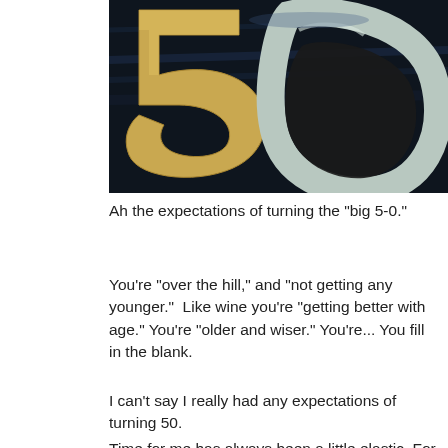[Figure (photo): Close-up photograph of large gold/metallic number '50' characters against a dark background, partially visible, showing the curves of '5' and '0']
Ah the expectations of turning the “big 5-0.”
You’re “over the hill,” and “not getting any younger.”  Like wine you’re “getting better with age.” You’re “older and wiser.” You’re... You fill in the blank.
I can’t say I really had any expectations of turning 50.
Time for me has always been a little elastic. For instance, I showed up several